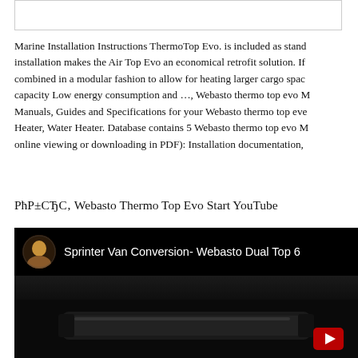Marine Installation Instructions ThermoTop Evo. is included as standard installation makes the Air Top Evo an economical retrofit solution. If combined in a modular fashion to allow for heating larger cargo space capacity Low energy consumption and …, Webasto thermo top evo Manuals, Guides and Specifications for your Webasto thermo top evo Heater, Water Heater. Database contains 5 Webasto thermo top evo M online viewing or downloading in PDF): Installation documentation,
РћР±С‚Рµ Webasto Thermo Top Evo Start YouTube
[Figure (screenshot): YouTube video thumbnail showing 'Sprinter Van Conversion- Webasto Dual Top 6' with user avatar and dark background showing a heater unit]